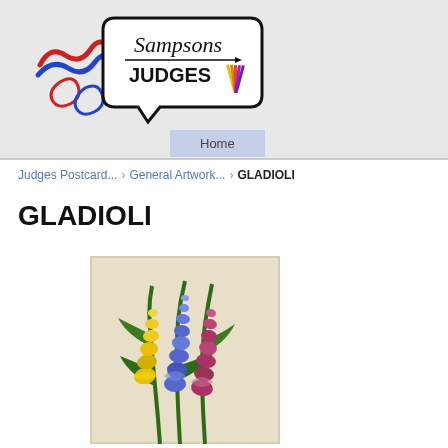[Figure (logo): Sampsons Judges logo with colorful wave graphic on left and speech bubble containing 'Sampsons JUDGES' text with rosette ribbon on right]
Home
Judges Postcard... General Artwork... GLADIOLI
GLADIOLI
[Figure (illustration): Illustration of three gladioli flower stems - yellow, blue/purple, and pink/mauve - with green leaves on a light beige background]